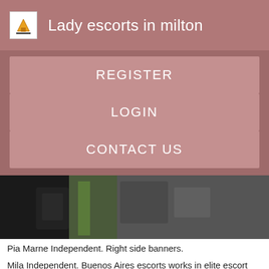Lady escorts in milton
REGISTER
LOGIN
CONTACT US
[Figure (photo): Partial photo strip showing dark/blurred image content]
Pia Marne Independent. Right side banners.
Mila Independent. Buenos Aires escorts works in elite escort agencies, as an independent escorts or in local strip clubs, dancing sex chat free 78142, brothels, lap-dance bars and cabarets. Ana Independent. Vanesa Hvats Unverified. You may